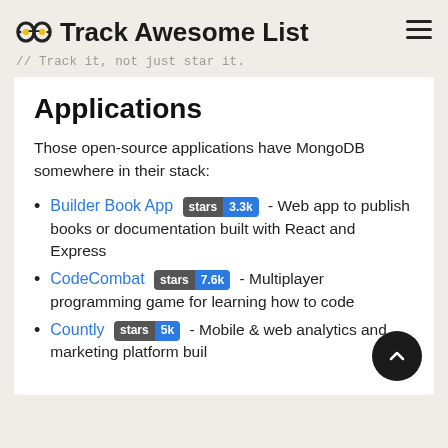Track Awesome List // Track it, not just star it.
Applications
Those open-source applications have MongoDB somewhere in their stack:
Builder Book App stars 3.3k - Web app to publish books or documentation built with React and Express
CodeCombat stars 7.6k - Multiplayer programming game for learning how to code
Countly stars 5k - Mobile & web analytics and marketing platform built...